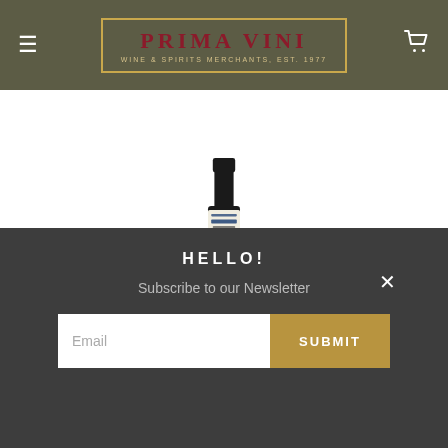PRIMA VINI — WINE & SPIRITS MERCHANTS, EST. 1977
[Figure (photo): Partial product image of a dark glass bottle of Origen Raiz Espadin Chacaleno Mezcal with label visible, cropped at the top of the page]
ORIGEN RAIZ
Origen Raiz Espadin Chacaleno Mezcal
$110.00
HELLO!
Subscribe to our Newsletter
Email  SUBMIT